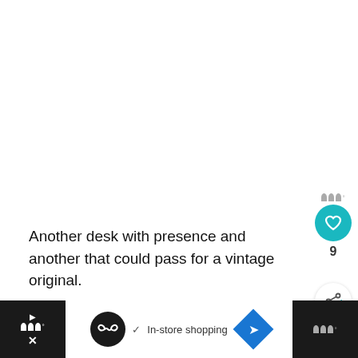[Figure (screenshot): Blank white area representing an article image placeholder at the top of the page]
Another desk with presence and another that could pass for a vintage original.
Part of the larger Portobello furniture range featured previously on the site, this is a desk inspired
[Figure (screenshot): WHAT'S NEXT panel with thumbnail image showing a wooden furniture piece, text reading 'Kay + Stemmer Flo...']
[Figure (screenshot): Bottom navigation bar with black ends showing wordmark logo, white center section with infinity-loop icon, checkmark, 'In-store shopping' text, and blue diamond navigation icon. Small x close button on right.]